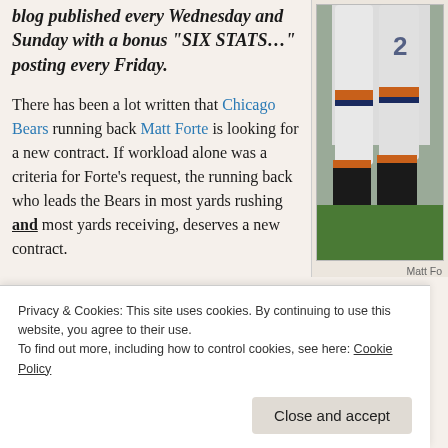Sports Stats on Tapp is a biweekly blog published every Wednesday and Sunday with a bonus "SIX STATS…" posting every Friday.
There has been a lot written that Chicago Bears running back Matt Forte is looking for a new contract. If workload alone was a criteria for Forte's request, the running back who leads the Bears in most yards rushing and most yards receiving, deserves a new contract.
[Figure (photo): Cropped photo of a football player (Matt Forte) showing legs and lower torso in Chicago Bears uniform with orange and navy stripes]
Matt Fo
Privacy & Cookies: This site uses cookies. By continuing to use this website, you agree to their use.
To find out more, including how to control cookies, see here: Cookie Policy
Close and accept